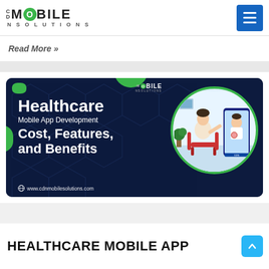CDN Mobile Solutions logo and hamburger menu
Read More »
[Figure (illustration): Healthcare Mobile App Development Cost, Features, and Benefits — dark navy banner with CDN Mobile Solutions branding, illustration of a patient in a chair doing a video call with a doctor on a phone screen, green accent blobs and hexagonal background pattern, website URL www.cdnmobilesolutions.com]
HEALTHCARE MOBILE APP